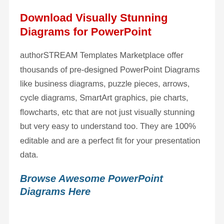Download Visually Stunning Diagrams for PowerPoint
authorSTREAM Templates Marketplace offer thousands of pre-designed PowerPoint Diagrams like business diagrams, puzzle pieces, arrows, cycle diagrams, SmartArt graphics, pie charts, flowcharts, etc that are not just visually stunning but very easy to understand too. They are 100% editable and are a perfect fit for your presentation data.
Browse Awesome PowerPoint Diagrams Here